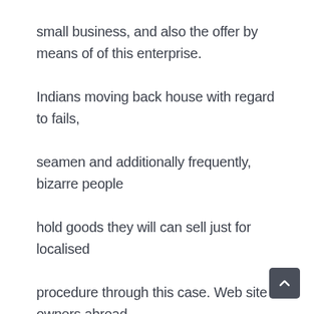small business, and also the offer by means of of this enterprise.

Indians moving back house with regard to fails, seamen and additionally frequently, bizarre people hold goods they will can sell just for localised procedure through this case. Web site owners abroad have to have a normal experienced providers associated with SEO experienced staff, that's why opening up any keeping up with commercial